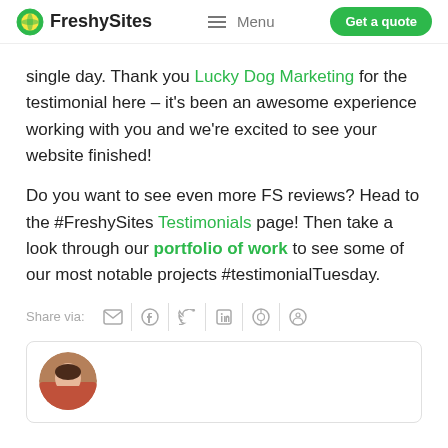FreshySites | Menu | Get a quote
single day. Thank you Lucky Dog Marketing for the testimonial here – it's been an awesome experience working with you and we're excited to see your website finished!
Do you want to see even more FS reviews? Head to the #FreshySites Testimonials page! Then take a look through our portfolio of work to see some of our most notable projects #testimonialTuesday.
Share via:
[Figure (other): Circular profile photo of a woman in front of a brick wall, partially visible at the bottom of the page]